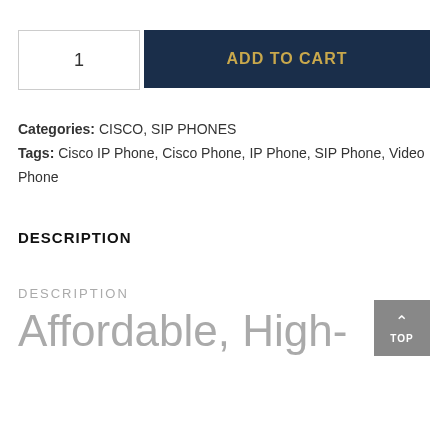1
ADD TO CART
Categories: CISCO, SIP PHONES
Tags: Cisco IP Phone, Cisco Phone, IP Phone, SIP Phone, Video Phone
DESCRIPTION
DESCRIPTION
Affordable, High-